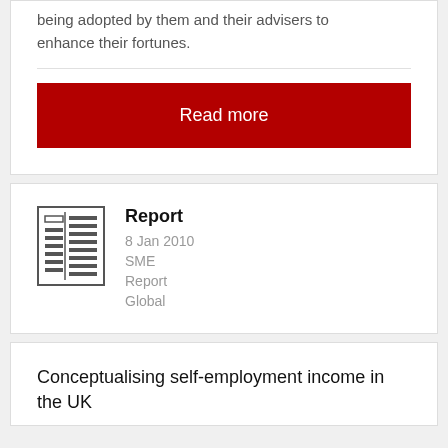being adopted by them and their advisers to enhance their fortunes.
Read more
Report
8 Jan 2010
SME
Report
Global
Conceptualising self-employment income in the UK